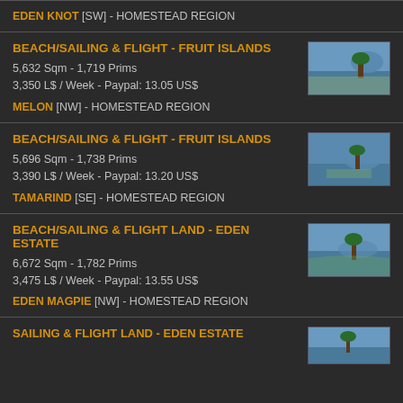EDEN KNOT [SW] - HOMESTEAD REGION
BEACH/SAILING & FLIGHT - FRUIT ISLANDS
5,632 Sqm - 1,719 Prims
3,350 L$ / Week - Paypal: 13.05 US$
MELON [NW] - HOMESTEAD REGION
BEACH/SAILING & FLIGHT - FRUIT ISLANDS
5,696 Sqm - 1,738 Prims
3,390 L$ / Week - Paypal: 13.20 US$
TAMARIND [SE] - HOMESTEAD REGION
BEACH/SAILING & FLIGHT LAND - EDEN ESTATE
6,672 Sqm - 1,782 Prims
3,475 L$ / Week - Paypal: 13.55 US$
EDEN MAGPIE [NW] - HOMESTEAD REGION
SAILING & FLIGHT LAND - EDEN ESTATE